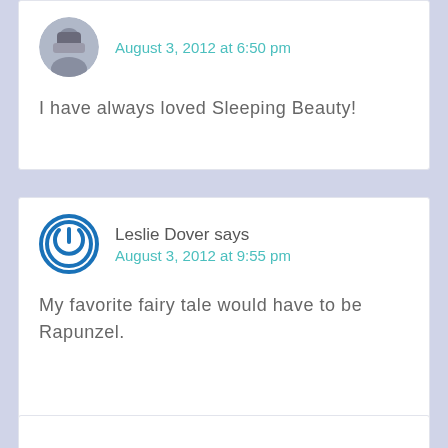August 3, 2012 at 6:50 pm
I have always loved Sleeping Beauty!
Leslie Dover says
August 3, 2012 at 9:55 pm
My favorite fairy tale would have to be Rapunzel.